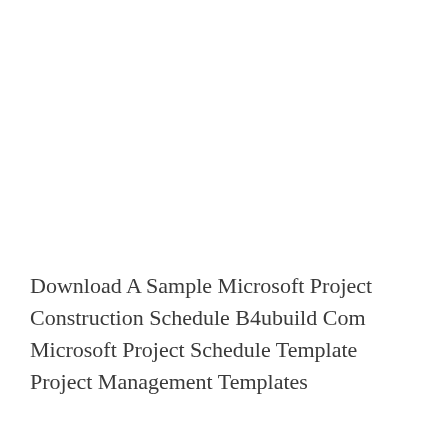Download A Sample Microsoft Project Construction Schedule B4ubuild Com Microsoft Project Schedule Template Project Management Templates